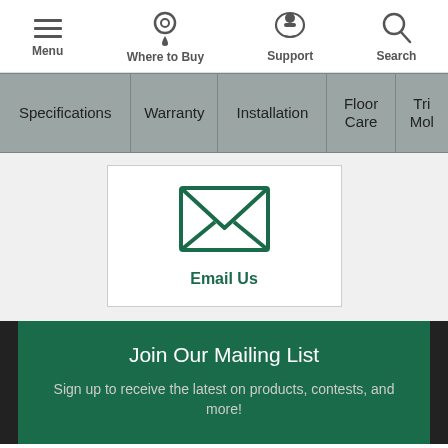Menu | Where to Buy | Support | Search
Specifications | Warranty | Installation | Floor Care | Tri Moh
[Figure (illustration): Email envelope icon in dark green]
Email Us
Join Our Mailing List
Sign up to receive the latest on products, contests, and more!